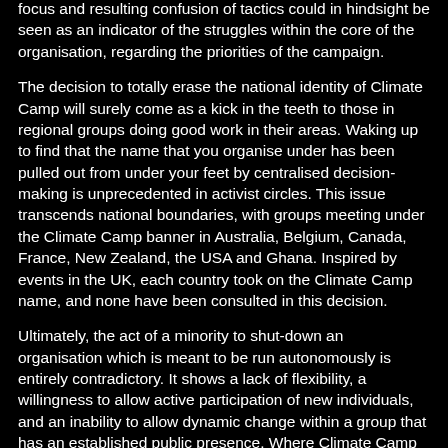focus and resulting confusion of tactics could in hindsight be seen as an indicator of the struggles within the core of the organisation, regarding the priorities of the campaign.
The decision to totally erase the national identity of Climate Camp will surely come as a kick in the teeth to those in regional groups doing good work in their areas. Waking up to find that the name that you organise under has been pulled out from under your feet by centralised decision-making is unprecedented in activist circles. This issue transcends national boundaries, with groups meeting under the Climate Camp banner in Australia, Belgium, Canada, France, New Zealand, the USA and Ghana. Inspired by events in the UK, each country took on the Climate Camp name, and none have been consulted in this decision.
Ultimately, the act of a minority to shut-down an organisation which is meant to be run autonomously is entirely contradictory. It shows a lack of flexibility, a willingness to allow active participation of new individuals, and an inability to allow dynamic change within a group that has an established public presence. Where Climate Camp goes after this, and whether local groups can effectively use the collective identity which has done so much for environmental activism over the last 5 years remains to be seen.